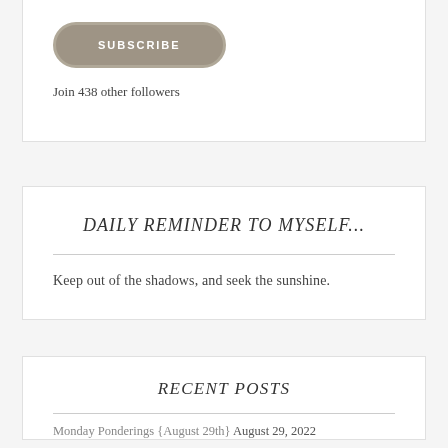SUBSCRIBE
Join 438 other followers
DAILY REMINDER TO MYSELF...
Keep out of the shadows, and seek the sunshine.
RECENT POSTS
Monday Ponderings {August 29th} August 29, 2022